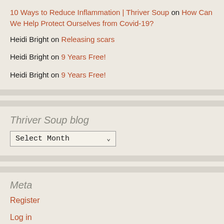10 Ways to Reduce Inflammation | Thriver Soup on How Can We Help Protect Ourselves from Covid-19?
Heidi Bright on Releasing scars
Heidi Bright on 9 Years Free!
Heidi Bright on 9 Years Free!
Thriver Soup blog
Select Month
Meta
Register
Log in
Entries feed